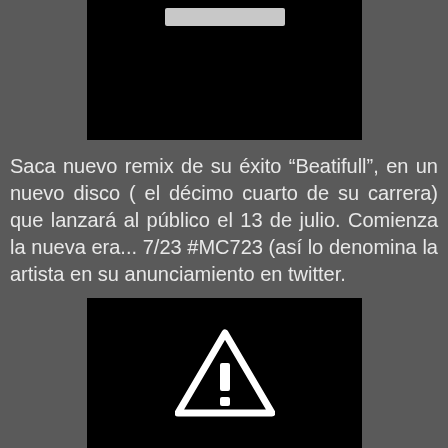[Figure (screenshot): Black rectangle with a light gray horizontal bar at the top center, resembling a video player or media thumbnail placeholder.]
Saca nuevo remix de su éxito “Beatifull”, en un nuevo disco ( el décimo cuarto de su carrera) que lanzará al público el 13 de julio. Comienza la nueva era... 7/23 #MC723 (así lo denomina la artista en su anunciamiento en twitter.
[Figure (screenshot): Black rectangle with a white warning triangle (exclamation mark) icon in the center, resembling a broken or unavailable media placeholder.]